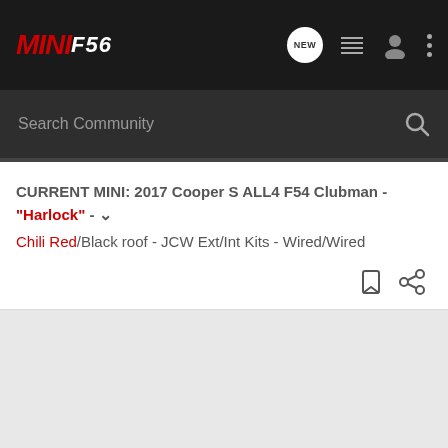MINIF56 [navigation header with NEW, list, user, and more icons]
Search Community
CURRENT MINI: 2017 Cooper S ALL4 F54 Clubman - "Harlock" - Chili Red/Black roof - JCW Ext/Int Kits - Wired/Wired